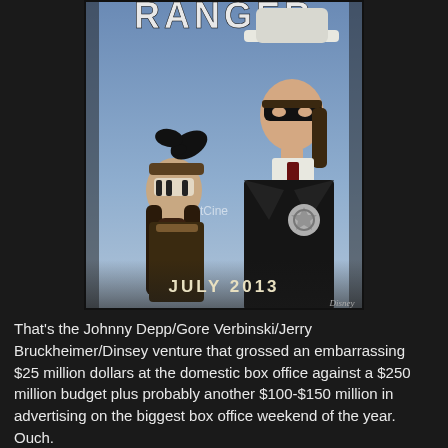[Figure (photo): Movie poster for 'The Lone Ranger' showing two characters — one in Native American headdress with face paint (Tonto) and one in a black suit with a white cowboy hat and black mask (The Lone Ranger) — with text 'RANGER' at the top and 'JULY 2013' at the bottom. A watermark reading 'Cinema' is visible.]
That's the Johnny Depp/Gore Verbinski/Jerry Bruckheimer/Dinsey venture that grossed an embarrassing $25 million dollars at the domestic box office against a $250 million budget plus probably another $100-$150 million in advertising on the biggest box office weekend of the year. Ouch.